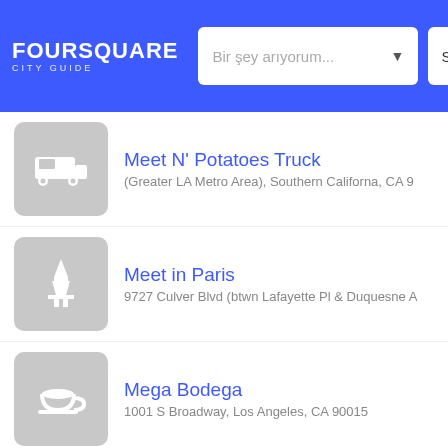FOURSQUARE CITY GUIDE | Bir şey arıyorum... | San D
Meet N' Potatoes Truck
(Greater LA Metro Area), Southern Californa, CA 9
Meet in Paris
9727 Culver Blvd (btwn Lafayette Pl & Duquesne A
Mega Bodega
1001 S Broadway, Los Angeles, CA 90015
Mega City One
7301 Melrose Ave (at Pointsettia Pl), Los Angeles,
Mega Coin Laundry
1411 Echo Park Ave, Los Angeles, CA 90026
Mega Pizza and Grill
11028 Washington Blvd (at Tilden Ave), Culver Cit